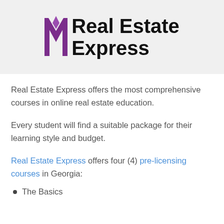[Figure (logo): Real Estate Express logo with purple stylized M icon and bold black text reading 'Real Estate Express' on a light gray background]
Real Estate Express offers the most comprehensive courses in online real estate education.
Every student will find a suitable package for their learning style and budget.
Real Estate Express offers four (4) pre-licensing courses in Georgia:
The Basics